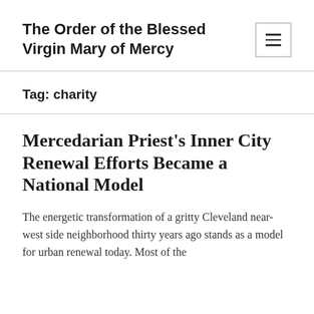The Order of the Blessed Virgin Mary of Mercy
Tag: charity
Mercedarian Priest's Inner City Renewal Efforts Became a National Model
The energetic transformation of a gritty Cleveland near-west side neighborhood thirty years ago stands as a model for urban renewal today. Most of the